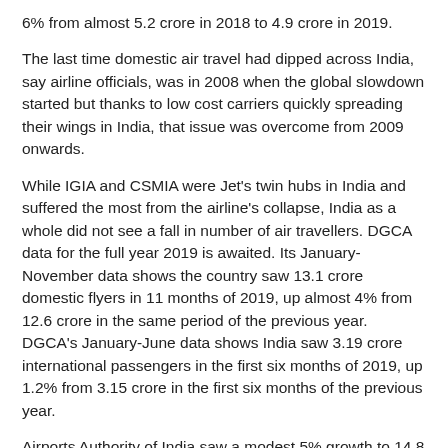6% from almost 5.2 crore in 2018 to 4.9 crore in 2019.
The last time domestic air travel had dipped across India, say airline officials, was in 2008 when the global slowdown started but thanks to low cost carriers quickly spreading their wings in India, that issue was overcome from 2009 onwards.
While IGIA and CSMIA were Jet's twin hubs in India and suffered the most from the airline's collapse, India as a whole did not see a fall in number of air travellers. DGCA data for the full year 2019 is awaited. Its January-November data shows the country saw 13.1 crore domestic flyers in 11 months of 2019, up almost 4% from 12.6 crore in the same period of the previous year. DGCA's January-June data shows India saw 3.19 crore international passengers in the first six months of 2019, up 1.2% from 3.15 crore in the first six months of the previous year.
Airports Authority of India saw a modest 5% growth to 14.8 crore domestic-cum-international passengers in January—November 2019 at its airports (not JV metro ones) over 14.1 crore in the same period of the previous year. However,